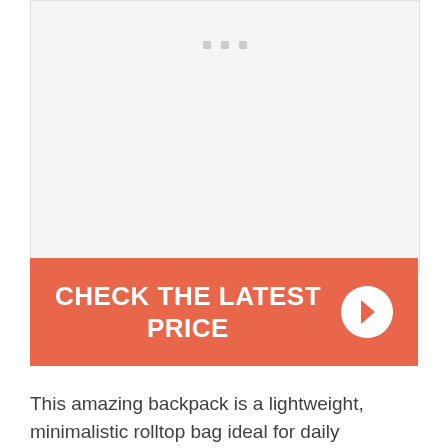[Figure (photo): Image placeholder with three small gray squares/dots near the top center, light gray background]
[Figure (infographic): Orange/coral call-to-action button reading CHECK THE LATEST PRICE with a white circular arrow icon on the right]
This amazing backpack is a lightweight, minimalistic rolltop bag ideal for daily